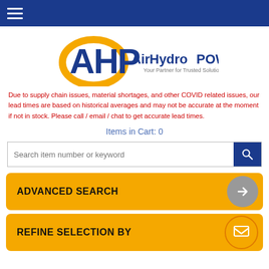Navigation bar with hamburger menu
[Figure (logo): AirHydroPower logo with AHP letters in blue and gold swoosh, tagline 'Your Partner for Trusted Solutions']
Due to supply chain issues, material shortages, and other COVID related issues, our lead times are based on historical averages and may not be accurate at the moment if not in stock. Please call / email / chat to get accurate lead times.
Items in Cart: 0
Search item number or keyword
ADVANCED SEARCH
REFINE SELECTION BY